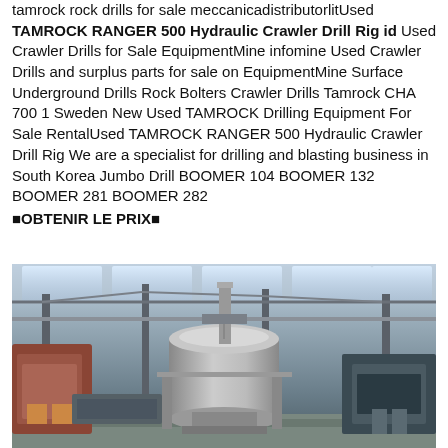tamrock rock drills for sale meccanicadistributorlitUsed TAMROCK RANGER 500 Hydraulic Crawler Drill Rig id Used Crawler Drills for Sale EquipmentMine infomine Used Crawler Drills and surplus parts for sale on EquipmentMine Surface Underground Drills Rock Bolters Crawler Drills Tamrock CHA 700 1 Sweden New Used TAMROCK Drilling Equipment For Sale RentalUsed TAMROCK RANGER 500 Hydraulic Crawler Drill Rig We are a specialist for drilling and blasting business in South Korea Jumbo Drill BOOMER 104 BOOMER 132 BOOMER 281 BOOMER 282
⬛OBTENIR LE PRIX⬛
[Figure (photo): Industrial factory interior showing large cylindrical machinery/equipment on a factory floor with steel structure roof and natural lighting from skylights]